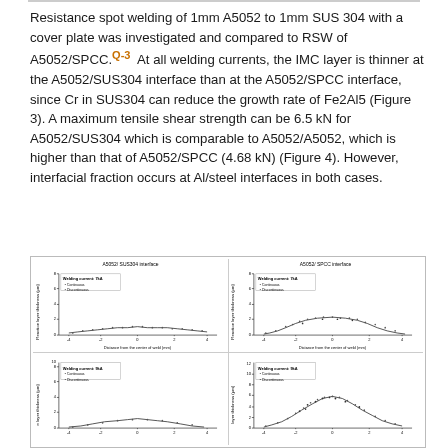Resistance spot welding of 1mm A5052 to 1mm SUS 304 with a cover plate was investigated and compared to RSW of A5052/SPCC.[Q-3] At all welding currents, the IMC layer is thinner at the A5052/SUS304 interface than at the A5052/SPCC interface, since Cr in SUS304 can reduce the growth rate of Fe2Al5 (Figure 3). A maximum tensile shear strength can be 6.5 kN for A5052/SUS304 which is comparable to A5052/A5052, which is higher than that of A5052/SPCC (4.68 kN) (Figure 4). However, interfacial fraction occurs at Al/steel interfaces in both cases.
[Figure (continuous-plot): Four scatter/line plots showing reaction layer thickness (μm) vs distance from center of weld (mm) for A5052/SUS304 interface (left column) and A5052/SPCC interface (right column), at welding currents 7kA (top row) and 9kA (bottom row). Each chart shows Continuous and Discontinuous data series.]